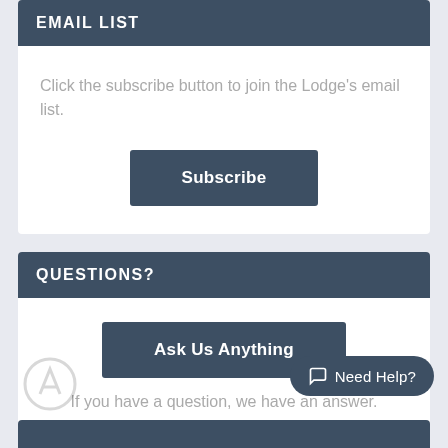EMAIL LIST
Click the subscribe button to join the Lodge's email list.
[Figure (other): Subscribe button — dark blue rectangular button with white text 'Subscribe']
QUESTIONS?
[Figure (other): Ask Us Anything button — dark blue rectangular button with white text 'Ask Us Anything']
If you have a question, we have an answer.